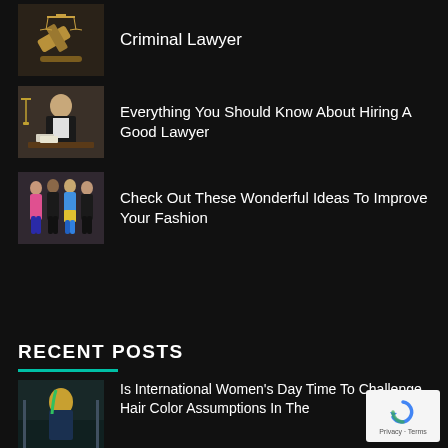[Figure (photo): Gavel/scales of justice on dark background thumbnail]
Criminal Lawyer
[Figure (photo): Female lawyer sitting at desk with scales of justice thumbnail]
Everything You Should Know About Hiring A Good Lawyer
[Figure (photo): Group of fashionable people posing thumbnail]
Check Out These Wonderful Ideas To Improve Your Fashion
RECENT POSTS
[Figure (photo): Woman with colorful hair at gym thumbnail]
Is International Women's Day Time To Challenge Hair Color Assumptions In The